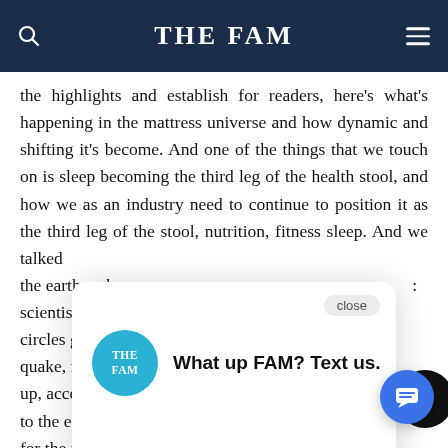THE FAM
the highlights and establish for readers, here's what's happening in the mattress universe and how dynamic and shifting it's become. And one of the things that we touch on is sleep becoming the third leg of the health stool, and how we as an industry need to continue to position it as the third leg of the stool, nutrition, fitness sleep. And we talked the earthquak scientists saw circles got fur quake, fewer and fewer people wait, were woke up, according to the Fitbit data movement. S to the epicenter, naturally, people woke up? for the first time really at scale in human history,
[Figure (screenshot): Popup chat widget showing THE FAM logo and message 'What up FAM? Text us.' with a close button]